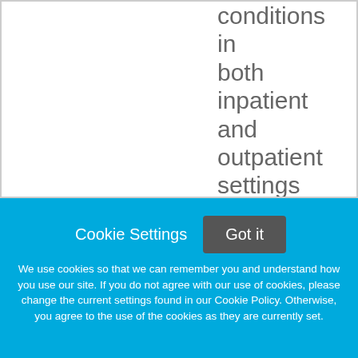conditions in both inpatient and outpatient settings at locations throughout New
Cookie Settings  Got it
We use cookies so that we can remember you and understand how you use our site. If you do not agree with our use of cookies, please change the current settings found in our Cookie Policy. Otherwise, you agree to the use of the cookies as they are currently set.